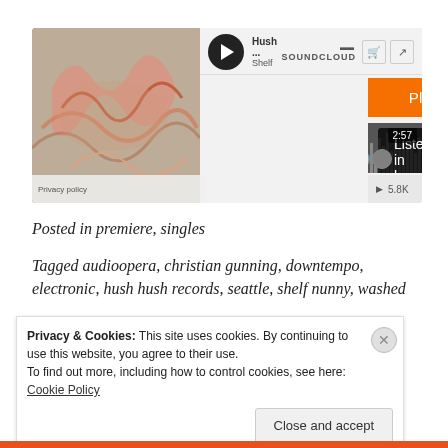[Figure (screenshot): SoundCloud embedded player widget showing a track called 'Hush...' by Shelf, with an orange 'Play on SoundCloud' button overlay and a 'Listen in browser' dark button. Artwork shows abstract organic squiggly shapes. Waveform visible. Duration 2:57, play count 5.8K. Privacy policy link at bottom left.]
Posted in premiere, singles
Tagged audioopera, christian gunning, downtempo, electronic, hush hush records, seattle, shelf nunny, washed
Privacy & Cookies: This site uses cookies. By continuing to use this website, you agree to their use.
To find out more, including how to control cookies, see here: Cookie Policy
Close and accept